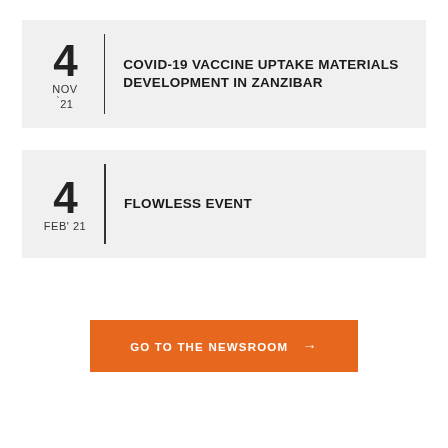4 NOV '21 — COVID-19 VACCINE UPTAKE MATERIALS DEVELOPMENT IN ZANZIBAR
4 FEB' 21 — FLOWLESS EVENT
GO TO THE NEWSROOM →